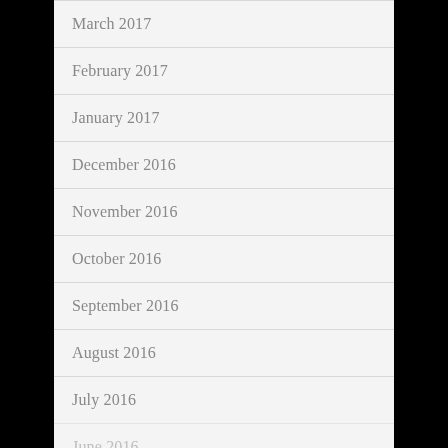March 2017
February 2017
January 2017
December 2016
November 2016
October 2016
September 2016
August 2016
July 2016
June 2016